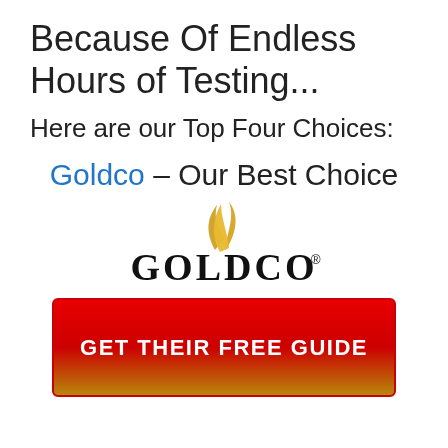Because Of Endless Hours of Testing...
Here are our Top Four Choices:
Goldco – Our Best Choice
[Figure (logo): Goldco logo with golden flame symbol above the text GOLDCO with registered trademark symbol]
GET THEIR FREE GUIDE